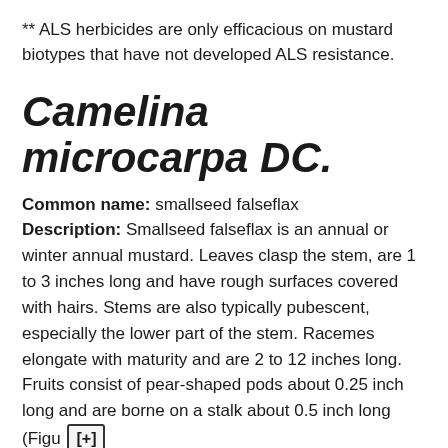** ALS herbicides are only efficacious on mustard biotypes that have not developed ALS resistance.
Camelina microcarpa DC.
Common name: smallseed falseflax Description: Smallseed falseflax is an annual or winter annual mustard. Leaves clasp the stem, are 1 to 3 inches long and have rough surfaces covered with hairs. Stems are also typically pubescent, especially the lower part of the stem. Racemes elongate with maturity and are 2 to 12 inches long. Fruits consist of pear-shaped pods about 0.25 inch long and are borne on a stalk about 0.5 inch long (Figu [+]